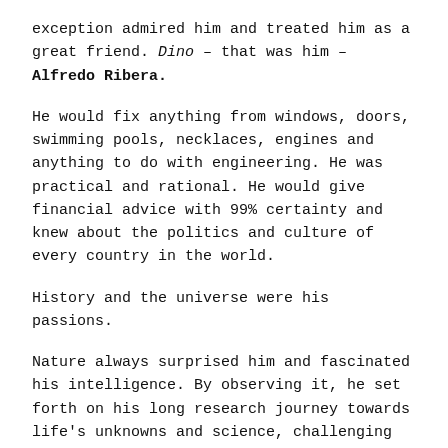exception admired him and treated him as a great friend. Dino – that was him – Alfredo Ribera.
He would fix anything from windows, doors, swimming pools, necklaces, engines and anything to do with engineering. He was practical and rational. He would give financial advice with 99% certainty and knew about the politics and culture of every country in the world.
History and the universe were his passions.
Nature always surprised him and fascinated his intelligence. By observing it, he set forth on his long research journey towards life's unknowns and science, challenging thousands of years of previous accounts and theories in silence.